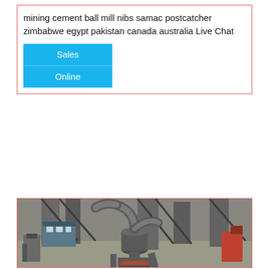mining cement ball mill nibs samac postcatcher zimbabwe egypt pakistan canada australia Live Chat
[Figure (photo): Industrial mining/cement plant machinery showing large pipes, a ball mill or grinder unit, silos, structural steel framework, and a small building, photographed from an elevated angle.]